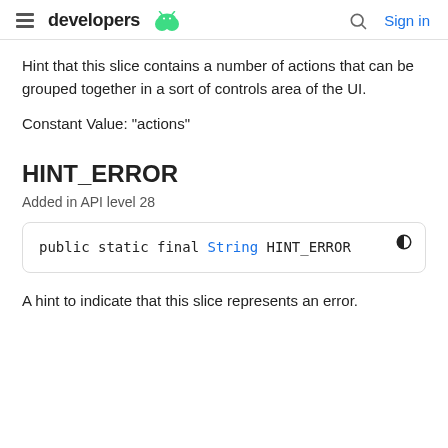developers [android logo] | [search] Sign in
Hint that this slice contains a number of actions that can be grouped together in a sort of controls area of the UI.
Constant Value: "actions"
HINT_ERROR
Added in API level 28
public static final String HINT_ERROR
A hint to indicate that this slice represents an error.